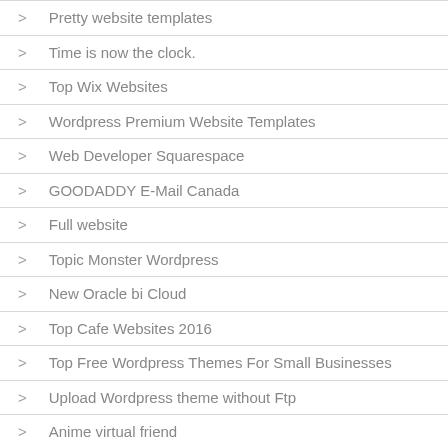Pretty website templates
Time is now the clock.
Top Wix Websites
Wordpress Premium Website Templates
Web Developer Squarespace
GOODADDY E-Mail Canada
Full website
Topic Monster Wordpress
New Oracle bi Cloud
Top Cafe Websites 2016
Top Free Wordpress Themes For Small Businesses
Upload Wordpress theme without Ftp
Anime virtual friend
Buy photos
A browser free download